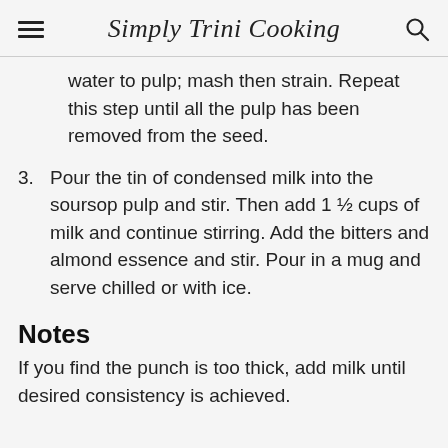Simply Trini Cooking
water to pulp; mash then strain. Repeat this step until all the pulp has been removed from the seed.
3. Pour the tin of condensed milk into the soursop pulp and stir. Then add 1 ½ cups of milk and continue stirring. Add the bitters and almond essence and stir. Pour in a mug and serve chilled or with ice.
Notes
If you find the punch is too thick, add milk until desired consistency is achieved.